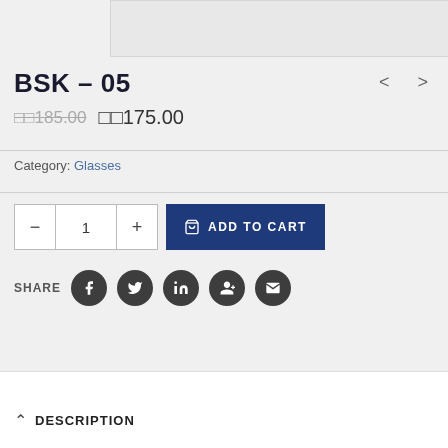[Figure (photo): Product image area (partially visible, gray background)]
BSK – 05
□□185.00  □□175.00
Category: Glasses
1  ADD TO CART
SHARE
DESCRIPTION